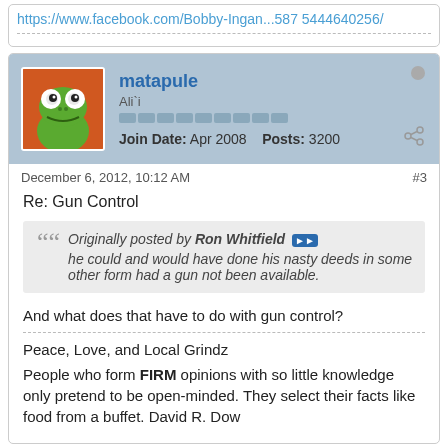https://www.facebook.com/Bobby-Ingan...587 5444640256/
matapule
Ali`i
Join Date: Apr 2008  Posts: 3200
December 6, 2012, 10:12 AM
#3
Re: Gun Control
Originally posted by Ron Whitfield
he could and would have done his nasty deeds in some other form had a gun not been available.
And what does that have to do with gun control?
Peace, Love, and Local Grindz
People who form FIRM opinions with so little knowledge only pretend to be open-minded. They select their facts like food from a buffet. David R. Dow